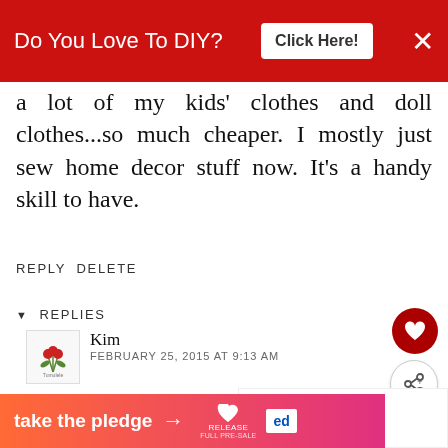[Figure (infographic): Red banner advertisement: 'Do You Love To DIY?' with a white 'Click Here!' button and an X close button]
a lot of my kids' clothes and doll clothes...so much cheaper. I mostly just sew home decor stuff now. It's a handy skill to have.
REPLY DELETE
▾ REPLIES
[Figure (logo): Small avatar/logo with red flowers on a white background]
Kim
FEBRUARY 25, 2015 AT 9:13 AM
I learned the basics when I was young too, Ceci... grandmother, mother and
[Figure (infographic): WHAT'S NEXT → A Creative Sweater Fix overlay with thumbnail]
[Figure (infographic): Bottom banner: take the pledge → RELEASE logo and Ed logo]